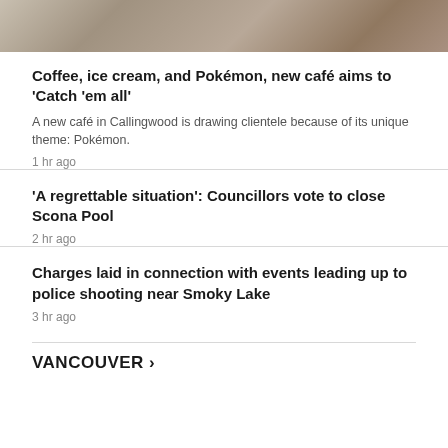[Figure (photo): Partial photo strip at top of page showing people at a café or similar setting]
Coffee, ice cream, and Pokémon, new café aims to 'Catch 'em all'
A new café in Callingwood is drawing clientele because of its unique theme: Pokémon.
1 hr ago
'A regrettable situation': Councillors vote to close Scona Pool
2 hr ago
Charges laid in connection with events leading up to police shooting near Smoky Lake
3 hr ago
VANCOUVER ›